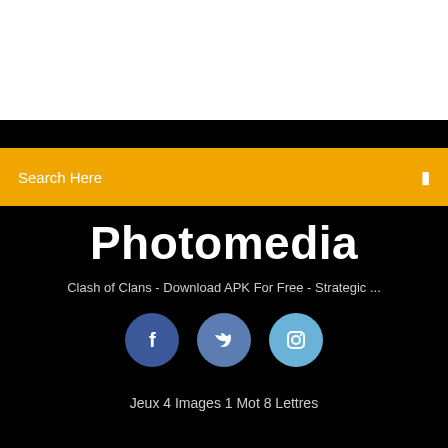Search Here
Photomedia
Clash of Clans - Download APK For Free - Strategic ...
[Figure (infographic): Three circular social media icons: Facebook (dark blue), Twitter (medium blue), Instagram (light blue)]
Jeux 4 Images 1 Mot 8 Lettres